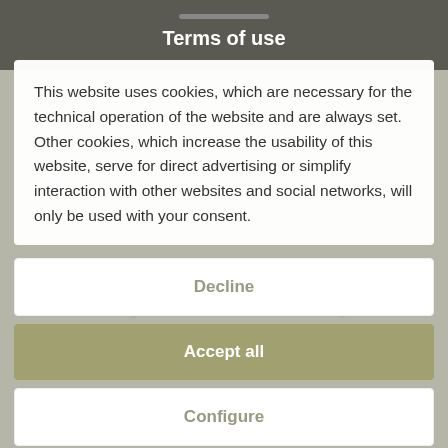Terms of use
DÄNEMARK FIELD PACK M/10 ARMY Feltpraest...
As owner of the company Lomax Militaria I would like to draw the attention of all visitors and customers of my online shop to the fact that
This website uses cookies, which are necessary for the technical operation of the website and are always set. Other cookies, which increase the usability of this website, serve for direct advertising or simplify interaction with other websites and social networks, will only be used with your consent.
Decline
Accept all
Configure
emblems of the organisations at that time, the latest regulations must be
Reich, the customer undertakes to acquire them only for the purposes
e implementation for the defence against unconstitutional endeavours, art or science, research or teaching, for reporting on current events or history or for similar impersonal reasons. It is therefore not
of the third realm. This is not necessary for items that are freely available for sale.